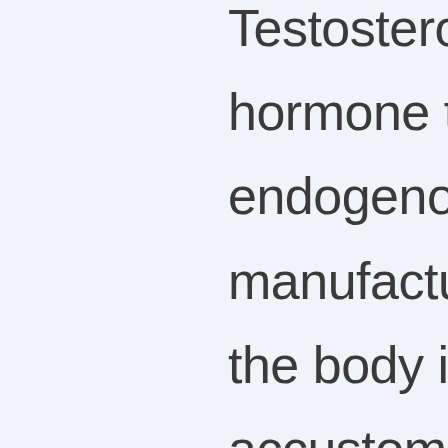Testosterone is the hormone that the body endogenously manufactures naturally so the body is highly accustomed to it. Genetics have a large role to play, however, in bearing any side-effects to